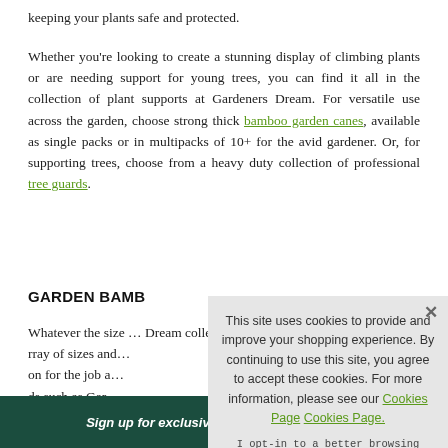keeping your plants safe and protected.
Whether you're looking to create a stunning display of climbing plants or are needing support for young trees, you can find it all in the collection of plant supports at Gardeners Dream. For versatile use across the garden, choose strong thick bamboo garden canes, available as single packs or in multipacks of 10+ for the avid gardener. Or, for supporting trees, choose from a heavy duty collection of professional tree guards.
GARDEN BAMB…
Whatever the size … Dream collection yo… rray of sizes and… on for the job a… ds such as Gar… am collection, s… garden accesso…
This site uses cookies to provide and improve your shopping experience. By continuing to use this site, you agree to accept these cookies. For more information, please see our Cookies Page Cookies Page.
I opt-in to a better browsing experience
ACCEPT COOKIES
Sign up for exclusive offers, tips and advice!